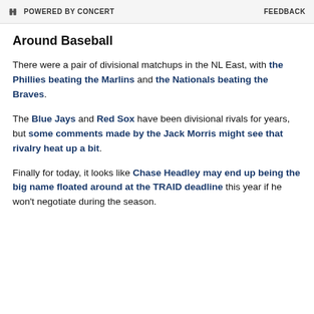POWERED BY CONCERT   FEEDBACK
Around Baseball
There were a pair of divisional matchups in the NL East, with the Phillies beating the Marlins and the Nationals beating the Braves.
The Blue Jays and Red Sox have been divisional rivals for years, but some comments made by the Jack Morris might see that rivalry heat up a bit.
Finally for today, it looks like Chase Headley may end up being the big name floated around at the TRAID deadline this year if he won't negotiate during the season.